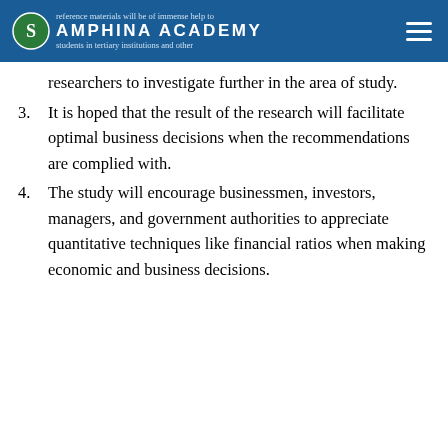AMPHINA ACADEMY
researchers to investigate further in the area of study.
3. It is hoped that the result of the research will facilitate optimal business decisions when the recommendations are complied with.
4. The study will encourage businessmen, investors, managers, and government authorities to appreciate quantitative techniques like financial ratios when making economic and business decisions.